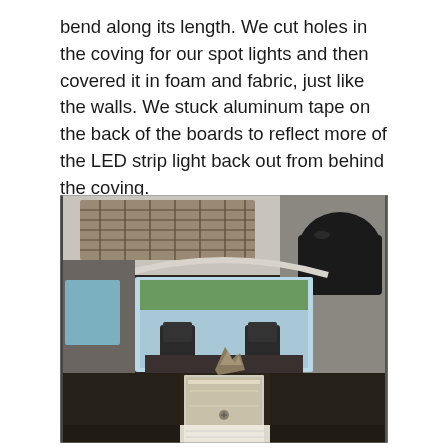bend along its length. We cut holes in the coving for our spot lights and then covered it in foam and fabric, just like the walls. We stuck aluminum tape on the back of the boards to reflect more of the LED strip light back out from behind the coving.
[Figure (photo): Interior view of a camper van conversion looking toward the front from the rear, showing fabric-covered walls and ceiling, a cargo net on the ceiling, a black bag/organizer hanging on the right wall, the front seats visible in the background through the windshield, and a length of clear LED strip channel with aluminum tape on a carpeted surface in the foreground.]